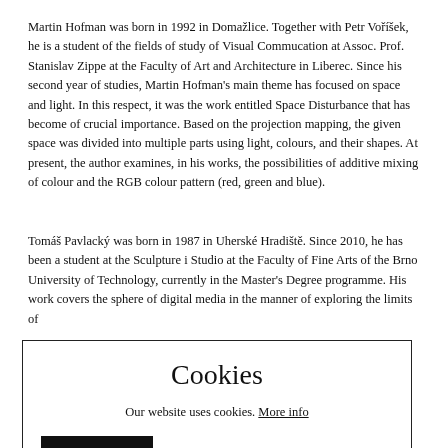Martin Hofman was born in 1992 in Domažlice. Together with Petr Voříšek, he is a student of the fields of study of Visual Commucation at Assoc. Prof. Stanislav Zippe at the Faculty of Art and Architecture in Liberec. Since his second year of studies, Martin Hofman's main theme has focused on space and light. In this respect, it was the work entitled Space Disturbance that has become of crucial importance. Based on the projection mapping, the given space was divided into multiple parts using light, colours, and their shapes. At present, the author examines, in his works, the possibilities of additive mixing of colour and the RGB colour pattern (red, green and blue).
Tomáš Pavlacký was born in 1987 in Uherské Hradiště. Since 2010, he has been a student at the Sculpture i Studio at the Faculty of Fine Arts of the Brno University of Technology, currently in the Master's Degree programme. His work covers the sphere of digital media in the manner of exploring the limits of [cookie modal obscures text] e has been dealing [cookie modal obscures text] the subsequent real [cookie modal obscures text] Environment at the [cookie modal obscures text] ogy, completed an [cookie modal obscures text] n Prague, and [cookie modal obscures text] at the Academy of [cookie modal obscures text] cuses on examining [cookie modal obscures text] graphic representation. Her activity is often characterised by critical reflection of gallery
[Figure (other): Cookie consent modal dialog box with title 'Cookies', text 'Our website uses cookies. More info' and a black 'I AGREE' button.]